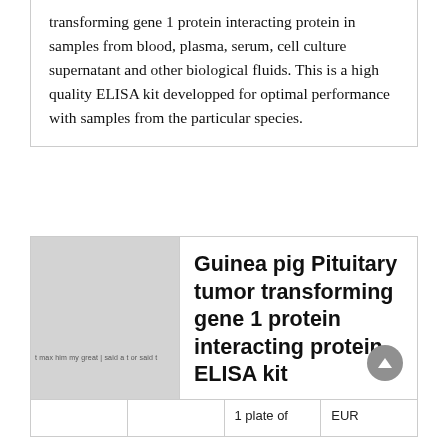transforming gene 1 protein interacting protein in samples from blood, plasma, serum, cell culture supernatant and other biological fluids. This is a high quality ELISA kit developped for optimal performance with samples from the particular species.
[Figure (photo): Product image placeholder showing a faint label with text, gray background]
Guinea pig Pituitary tumor transforming gene 1 protein interacting protein ELISA kit
|  |  | 1 plate of | EUR |
| --- | --- | --- | --- |